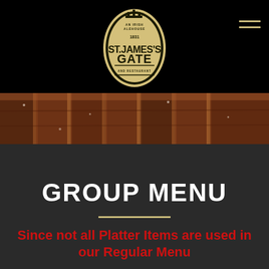[Figure (logo): St. James's Gate pub and restaurant circular logo on black background]
[Figure (photo): Close-up food photo showing grilled or roasted meat slices]
GROUP MENU
Since not all Platter Items are used in our Regular Menu Please see the Platter Items listed below